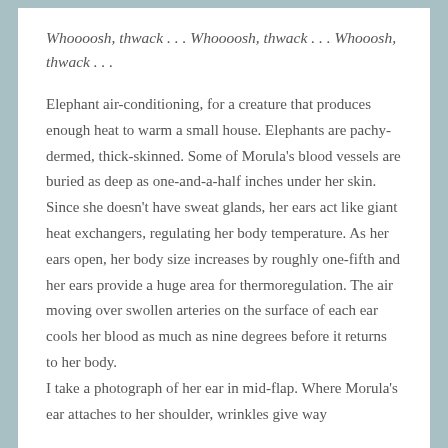Whoooosh, thwack . . . Whoooosh, thwack . . . Whooosh, thwack . . .
Elephant air-conditioning, for a creature that produces enough heat to warm a small house. Elephants are pachy-dermed, thick-skinned. Some of Morula's blood vessels are buried as deep as one-and-a-half inches under her skin. Since she doesn't have sweat glands, her ears act like giant heat exchangers, regulating her body temperature. As her ears open, her body size increases by roughly one-fifth and her ears provide a huge area for thermoregulation. The air moving over swollen arteries on the surface of each ear cools her blood as much as nine degrees before it returns to her body.
I take a photograph of her ear in mid-flap. Where Morula's ear attaches to her shoulder, wrinkles give way to...